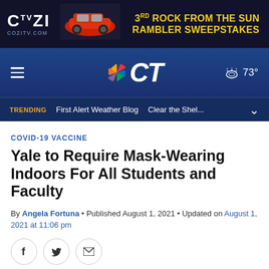[Figure (infographic): COZI TV advertisement banner — '3rd Rock From The Sun Rambler Sweepstakes' with red car image on dark background, cozitv.com]
[Figure (screenshot): NBC CT navigation bar with hamburger menu, NBC peacock logo with CT text, and weather showing 73 degrees]
[Figure (screenshot): Trending navigation bar with orange TRENDING label, First Alert Weather Blog, Clear the Shel... links and chevron]
COVID-19 VACCINE
Yale to Require Mask-Wearing Indoors For All Students and Faculty
By Angela Fortuna • Published August 1, 2021 • Updated on August 1, 2021 at 11:06 pm
[Figure (other): Social sharing buttons: Facebook, Twitter, Email (envelope icon)]
[Figure (photo): Article image at bottom — partial view, light blue and gray tones with purple on right edge]